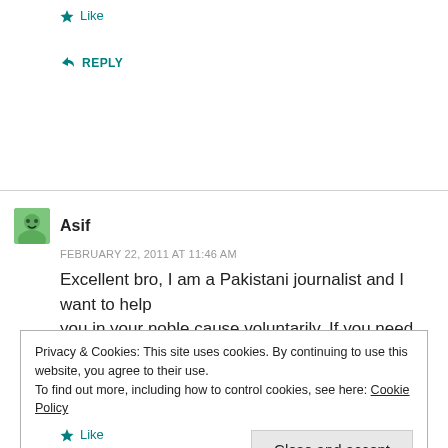★ Like
↳ REPLY
Asif
FEBRUARY 22, 2011 AT 11:46 AM
Excellent bro, I am a Pakistani journalist and I want to help you in your noble cause voluntarily, If you need any help in Pakistan, just sms on +92344-3747026
Privacy & Cookies: This site uses cookies. By continuing to use this website, you agree to their use.
To find out more, including how to control cookies, see here: Cookie Policy
Close and accept
★ Like